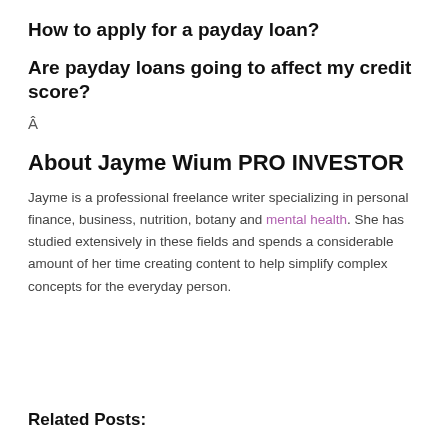How to apply for a payday loan?
Are payday loans going to affect my credit score?
Â
About Jayme Wium PRO INVESTOR
Jayme is a professional freelance writer specializing in personal finance, business, nutrition, botany and mental health. She has studied extensively in these fields and spends a considerable amount of her time creating content to help simplify complex concepts for the everyday person.
Related Posts: